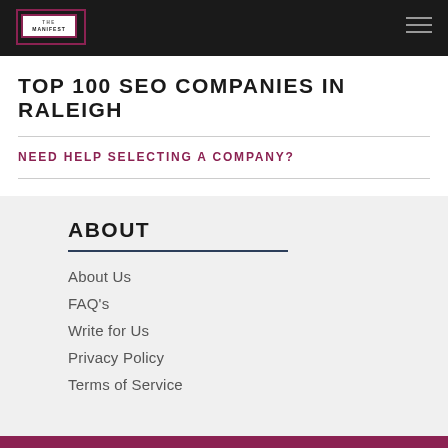THE MANIFEST
TOP 100 SEO COMPANIES IN RALEIGH
NEED HELP SELECTING A COMPANY?
ABOUT
About Us
FAQ's
Write for Us
Privacy Policy
Terms of Service